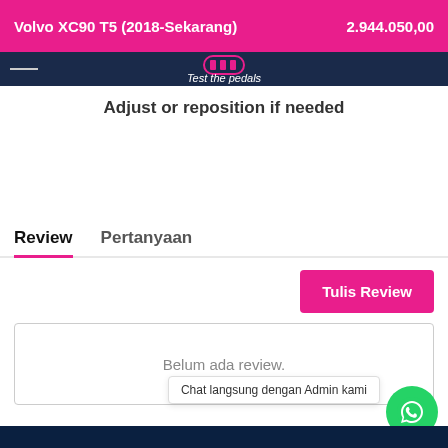Volvo XC90 T5 (2018-Sekarang)   2.944.050,00
[Figure (screenshot): Navigation bar with logo and partial text showing 'Test the pedals']
Adjust or reposition if needed
Review   Pertanyaan
Tulis Review
Belum ada review.
Chat langsung dengan Admin kami